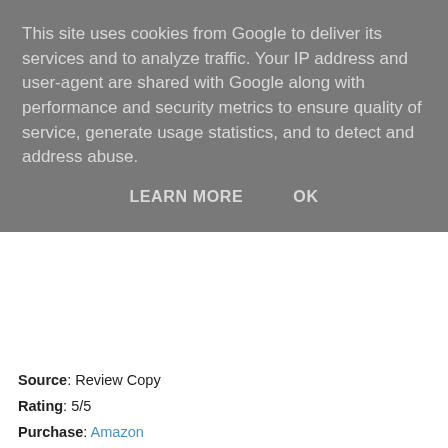This site uses cookies from Google to deliver its services and to analyze traffic. Your IP address and user-agent are shared with Google along with performance and security metrics to ensure quality of service, generate usage statistics, and to detect and address abuse.
LEARN MORE   OK
Source: Review Copy
Rating: 5/5
Purchase: Amazon
Things are looking up for Janusz Kiszka, big-hearted 'fixer' to London's Poles. His girlfriend/the love of his life, Kasia, is finally leaving her no-good husband to make a new life with him, and he's on the brink of a deal to ensure their financial security for years to come.
Then Kasia vanishes – and the big Pole's world is torn apart. Convinced she's been abducted, he must swallow his pride and seek the help of an old contact – maverick cop Natalie Kershaw